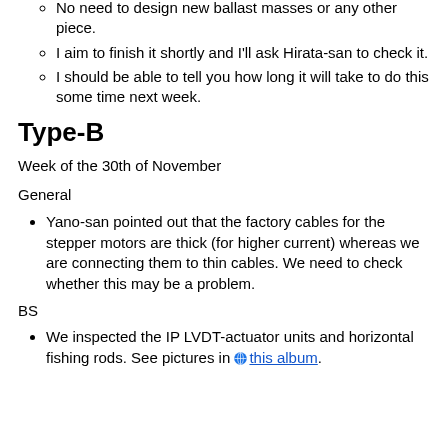No need to design new ballast masses or any other piece.
I aim to finish it shortly and I'll ask Hirata-san to check it.
I should be able to tell you how long it will take to do this some time next week.
Type-B
Week of the 30th of November
General
Yano-san pointed out that the factory cables for the stepper motors are thick (for higher current) whereas we are connecting them to thin cables. We need to check whether this may be a problem.
BS
We inspected the IP LVDT-actuator units and horizontal fishing rods. See pictures in this album.